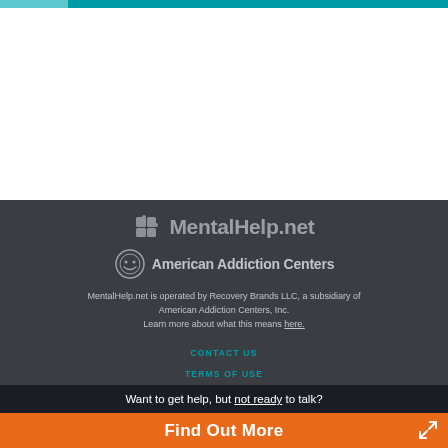[Figure (logo): MentalHelp.net logo with puzzle piece icon]
[Figure (logo): American Addiction Centers logo with smiley face circle icon]
MentalHelp.net is operated by Recovery Brands LLC, a subsidiary of American Addiction Centers, Inc. Learn more about what this means here.
CONTACT US
TERMS OF USE
Want to get help, but not ready to talk?
Find Out More